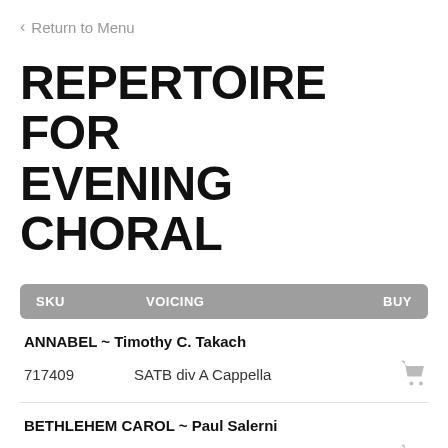< Return to Menu
REPERTOIRE FOR EVENING CHORAL
| SKU | VOICING | BUY |
| --- | --- | --- |
| ANNABEL ~ Timothy C. Takach |  |  |
| 717409 | SATB div A Cappella | [cart] |
| BETHLEHEM CAROL ~ Paul Salerni |  |  |
| 713277 | SATB div A Cappella [speaker] | [cart] |
| BOUND FOR CANAAN ~ ... |  |  |